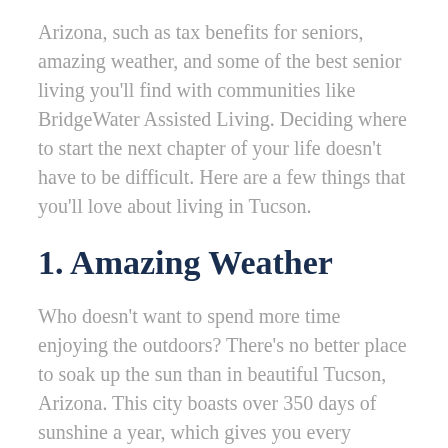Arizona, such as tax benefits for seniors, amazing weather, and some of the best senior living you'll find with communities like BridgeWater Assisted Living. Deciding where to start the next chapter of your life doesn't have to be difficult. Here are a few things that you'll love about living in Tucson.
1. Amazing Weather
Who doesn't want to spend more time enjoying the outdoors? There's no better place to soak up the sun than in beautiful Tucson, Arizona. This city boasts over 350 days of sunshine a year, which gives you every opportunity to get outside and